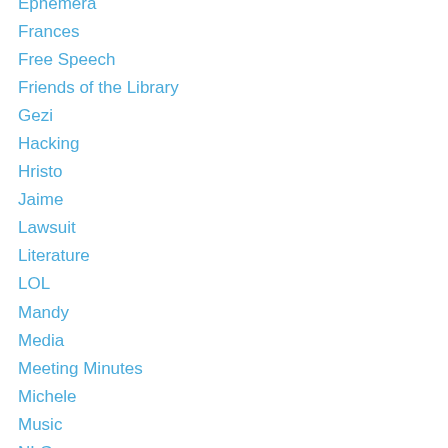Ephemera
Frances
Free Speech
Friends of the Library
Gezi
Hacking
Hristo
Jaime
Lawsuit
Literature
LOL
Mandy
Media
Meeting Minutes
Michele
Music
NLG
NSA
NYPL
OccupyLibraries